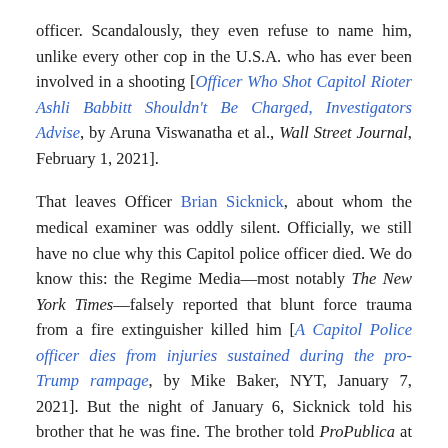officer. Scandalously, they even refuse to name him, unlike every other cop in the U.S.A. who has ever been involved in a shooting [Officer Who Shot Capitol Rioter Ashli Babbitt Shouldn't Be Charged, Investigators Advise, by Aruna Viswanatha et al., Wall Street Journal, February 1, 2021].
That leaves Officer Brian Sicknick, about whom the medical examiner was oddly silent. Officially, we still have no clue why this Capitol police officer died. We do know this: the Regime Media—most notably The New York Times—falsely reported that blunt force trauma from a fire extinguisher killed him [A Capitol Police officer dies from injuries sustained during the pro-Trump rampage, by Mike Baker, NYT, January 7, 2021]. But the night of January 6, Sicknick told his brother that he was fine. The brother told ProPublica at that time that Sicknick died of a stroke ["This Political Climate Got My Brother Killed": Officer Brian Sicknick